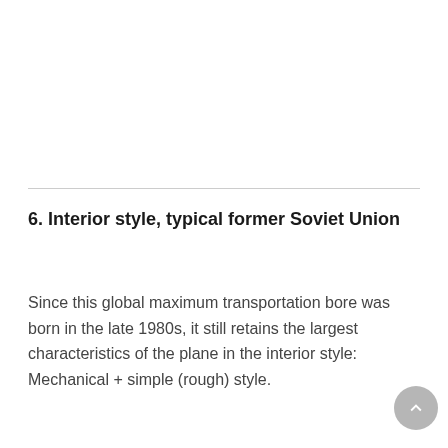6. Interior style, typical former Soviet Union
Since this global maximum transportation bore was born in the late 1980s, it still retains the largest characteristics of the plane in the interior style: Mechanical + simple (rough) style.